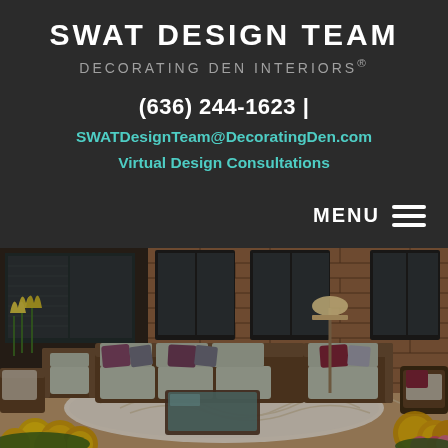SWAT DESIGN TEAM
DECORATING DEN INTERIORS®
(636) 244-1623 |
SWATDesignTeam@DecoratingDen.com
Virtual Design Consultations
MENU
[Figure (photo): Outdoor patio furniture set with wicker sectional sofa with grey cushions and purple/burgundy accent pillows, a glass coffee table, wicker chairs, a floor lamp, on a patterned area rug, with a brick wall backdrop, surrounded by yellow and pink chrysanthemum flowers and yellow tulips.]